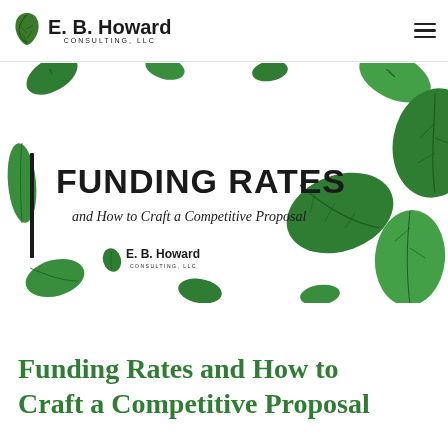E. B. Howard Consulting, LLC
[Figure (photo): Hero image with scattered green leaves on white background. Overlaid text reads 'FUNDING RATES' in bold black and 'and How to Craft a Competitive Proposal' in italic. E.B. Howard Consulting LLC logo appears in lower left of image.]
Funding Rates and How to Craft a Competitive Proposal